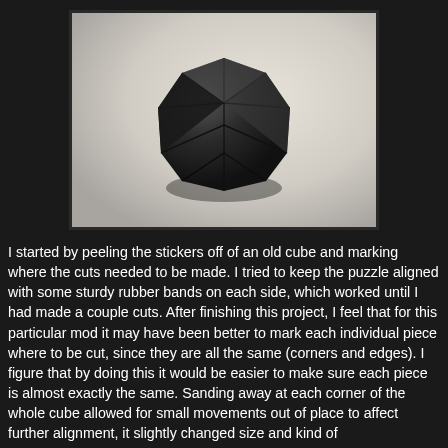[Figure (photo): A black faceted dodecahedron-shaped puzzle (modified Rubik's cube) sitting on a light grey/white surface, photographed from slightly above. The puzzle has polygonal flat faces cut at angles, all in black plastic.]
I started by peeling the stickers off of an old cube and marking where the cuts needed to be made. I tried to keep the puzzle aligned with some sturdy rubber bands on each side, which worked until I had made a couple cuts. After finishing this project, I feel that for this particular mod it may have been better to mark each individual piece where to be cut, since they are all the same (corners and edges). I figure that by doing this it would be easier to make sure each piece is almost exactly the same. Sanding away at each corner of the whole cube allowed for small movements out of place to affect further alignment, it slightly changed size and kind of